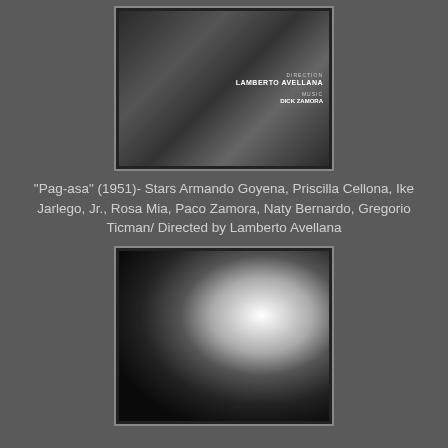[Figure (photo): Black and white film promotional image showing several actors gathered together, with text overlay reading 'Direction Lamberto Avellana / Music Dick Zamora']
"Pag-asa" (1951)- Stars Armando Goyena, Priscilla Cellona, Ike Jarlego, Jr., Rosa Mia, Paco Zamora, Naty Bernardo, Gregorio Ticman/ Directed by Lamberto Avellana
[Figure (photo): Black and white photograph of a woman seated, lit dramatically from the side, wearing a patterned dress]